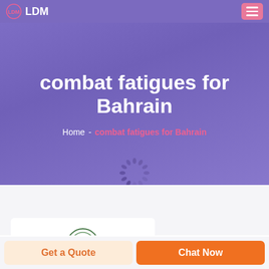LDM
combat fatigues for Bahrain
Home  -  combat fatigues for Bahrain
[Figure (logo): DEEKON brand logo with concentric circle icon and red text]
[Figure (photo): Partial product image strip at bottom of card]
Get a Quote
Chat Now